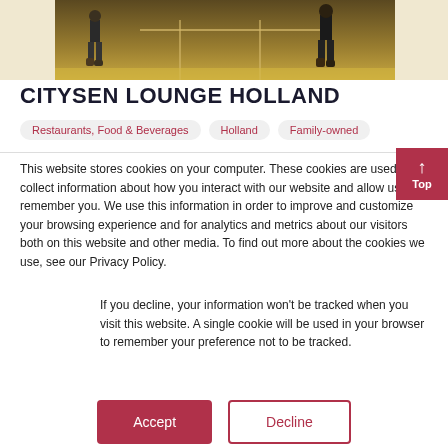[Figure (photo): A photograph showing people at what appears to be an airport or transit area, partially cropped at top, with a warm yellow/amber-lit interior]
CITYSEN LOUNGE HOLLAND
Restaurants, Food & Beverages  Holland  Family-owned
This website stores cookies on your computer. These cookies are used to collect information about how you interact with our website and allow us to remember you. We use this information in order to improve and customize your browsing experience and for analytics and metrics about our visitors both on this website and other media. To find out more about the cookies we use, see our Privacy Policy.
If you decline, your information won't be tracked when you visit this website. A single cookie will be used in your browser to remember your preference not to be tracked.
Accept  Decline